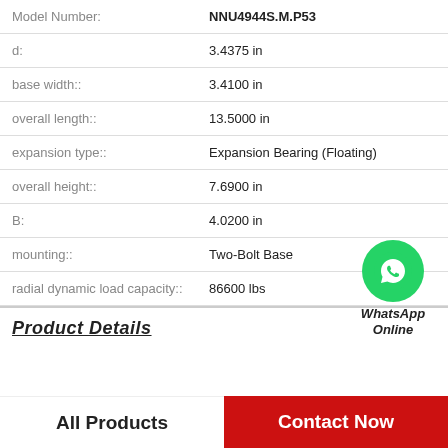| Property | Value |
| --- | --- |
| Model Number: | NNU4944S.M.P53 |
| d: | 3.4375 in |
| base width:: | 3.4100 in |
| overall length:: | 13.5000 in |
| expansion type:: | Expansion Bearing (Floating) |
| overall height:: | 7.6900 in |
| B: | 4.0200 in |
| mounting:: | Two-Bolt Base |
| radial dynamic load capacity:: | 86600 lbs |
[Figure (logo): WhatsApp Online contact bubble with green phone icon and bold italic text 'WhatsApp Online']
Product Details
All Products
Contact Now